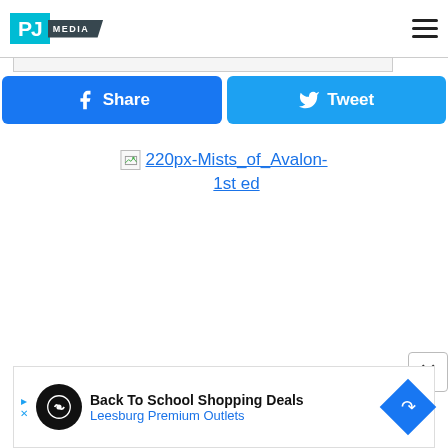PJ MEDIA
[Figure (screenshot): Two social sharing buttons: a blue Facebook Share button and a lighter blue Twitter Tweet button]
[Figure (other): Broken image placeholder followed by a hyperlink reading '220px-Mists_of_Avalon-1st ed']
[Figure (other): Advertisement bar: Back To School Shopping Deals - Leesburg Premium Outlets with navigation arrows and icons]